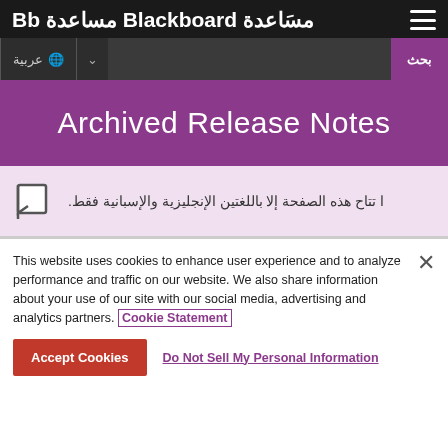مساعدة Blackboard مساعدة Bb
Archived Release Notes
ا تتاح هذه الصفحة إلا باللغتين الإنجليزية والإسبانية فقط.
This website uses cookies to enhance user experience and to analyze performance and traffic on our website. We also share information about your use of our site with our social media, advertising and analytics partners. Cookie Statement
Accept Cookies  Do Not Sell My Personal Information